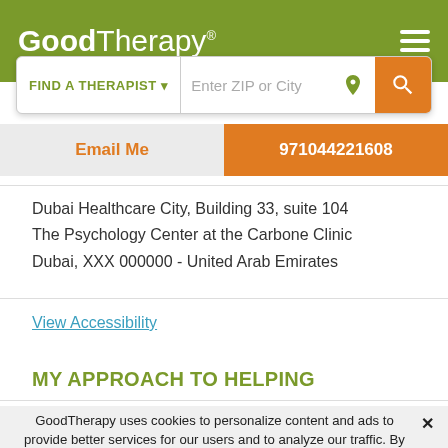GoodTherapy®
FIND A THERAPIST  Enter ZIP or City
Email Me   971044221608
Dubai Healthcare City, Building 33, suite 104
The Psychology Center at the Carbone Clinic
Dubai, XXX 000000 - United Arab Emirates
View Accessibility
MY APPROACH TO HELPING
GoodTherapy uses cookies to personalize content and ads to provide better services for our users and to analyze our traffic. By continuing to use this site you consent to our cookies.